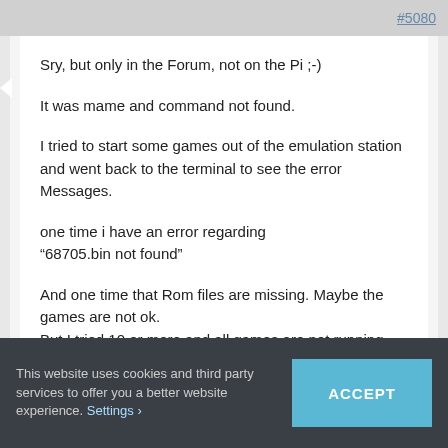#5080
Sry, but only in the Forum, not on the Pi ;-)
It was mame and command not found.
I tried to start some games out of the emulation station and went back to the terminal to see the error Messages.
one time i have an error regarding
“68705.bin not found”
And one time that Rom files are missing. Maybe the games are not ok.
But I tried 10 or more and all games are not running.
Viewing 35 posts - 1 through 35 (of 71 total)
This website uses cookies and third party services to offer you a better website experience. Settings ›
ACCEPT